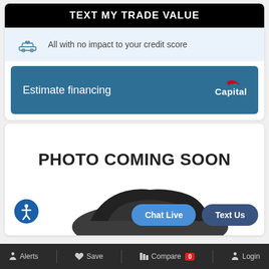TEXT MY TRADE VALUE
All with no impact to your credit score
Estimate financing
[Figure (logo): Capital One logo in white text with red swoosh]
[Figure (photo): PHOTO COMING SOON placeholder with partial dark car image visible at bottom]
Chat Live
Text Us
Alerts  Save  Compare 0  Login